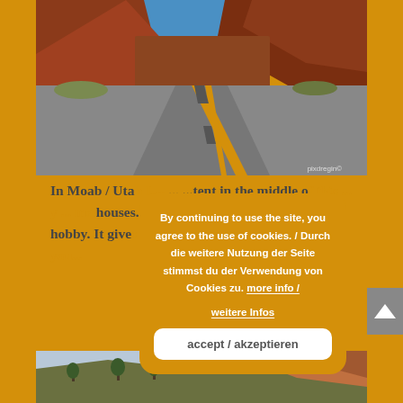[Figure (photo): A long desert road with yellow center lines stretching toward red rock canyon cliffs under a blue sky. Watermark: pixdregin(?)]
In Moab / Utah I ... content in the middle of the ... me houses. Searching for c... park is now my hobby. It gives ... extra and always makes f... you ...
[Figure (photo): Partial view of rocky canyon landscape with trees and cloudy sky at bottom of page.]
By continuing to use the site, you agree to the use of cookies. / Durch die weitere Nutzung der Seite stimmst du der Verwendung von Cookies zu. more info / weitere Infos
accept / akzeptieren